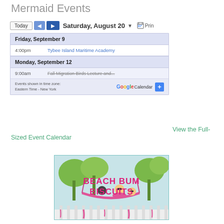Mermaid Events
[Figure (screenshot): Google Calendar widget showing events for Friday September 9 (4:00pm Tybee Island Maritime Academy) and Monday September 12 (9:00am Fall Migration Birds Lecture and...). Controls include Today button, navigation arrows, date Saturday August 20, dropdown, and Print button. Footer shows Eastern Time - New York timezone and Google Calendar logo with + button.]
View the Full-Sized Event Calendar
[Figure (illustration): Beach Bum Biscuits logo image showing cartoon characters relaxing in a hammock with tropical background, white picket fence at bottom, pink and green color scheme with bold pink text reading BEACH BUM BISCUITS]